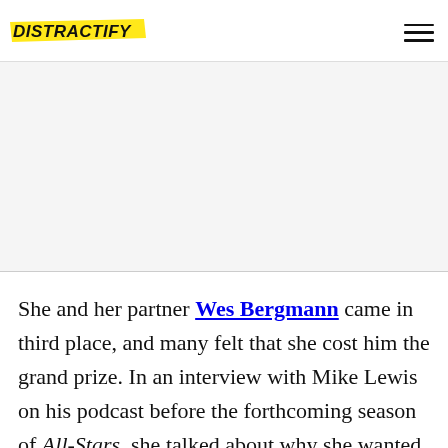DISTRACTIFY
[Figure (other): Advertisement placeholder area, light gray background]
She and her partner Wes Bergmann came in third place, and many felt that she cost him the grand prize. In an interview with Mike Lewis on his podcast before the forthcoming season of All-Stars, she talked about why she wanted to come back and compete after all this time